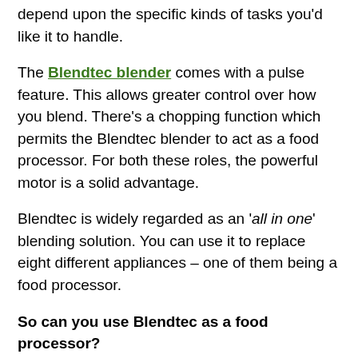depend upon the specific kinds of tasks you'd like it to handle.
The Blendtec blender comes with a pulse feature. This allows greater control over how you blend. There's a chopping function which permits the Blendtec blender to act as a food processor. For both these roles, the powerful motor is a solid advantage.
Blendtec is widely regarded as an 'all in one' blending solution. You can use it to replace eight different appliances – one of them being a food processor.
So can you use Blendtec as a food processor?
Generally, yes. And your Blendtec blender can replace a food processor for most of the typical tasks it will be used for in your kitchen.